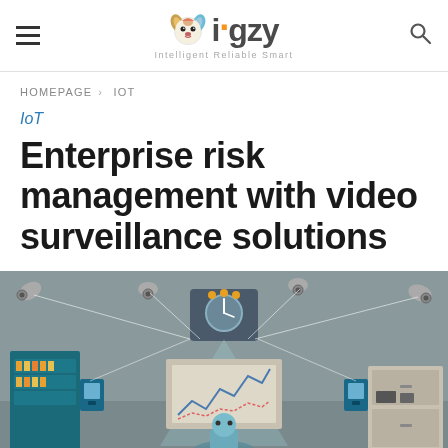igzy — Intelligent Reliable Smart
HOMEPAGE > IOT
IoT
Enterprise risk management with video surveillance solutions
[Figure (illustration): Illustration of enterprise video surveillance system showing multiple security cameras connected by lines to a central monitoring device in a room with filing cabinets, a chart on the wall, and storage units. Background is grey/teal.]